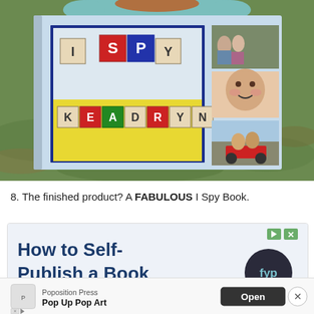[Figure (photo): Child holding a custom I Spy Book with alphabet block photos on the cover. The book cover shows 'I SPY' at the top and 'KEADRYN' at the bottom in colorful letter blocks. Three smaller photos are on the right side of the cover. The background shows grass outdoors.]
8. The finished product? A FABULOUS I Spy Book.
[Figure (screenshot): Advertisement for 'How to Self-Publish a Book' with a dark circular fyp logo on the right and green play/next arrow buttons in the top right corner.]
[Figure (screenshot): Bottom mobile app banner ad for Poposition Press showing 'Pop Up Pop Art' app with an Open button and close X button.]